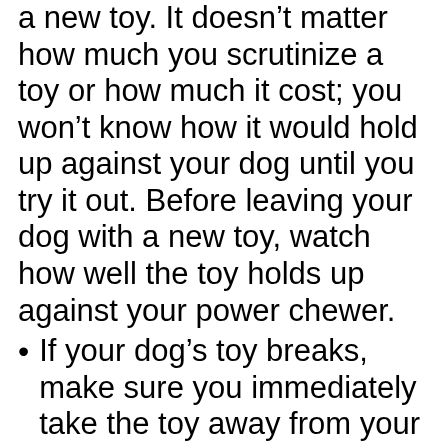a new toy. It doesn't matter how much you scrutinize a toy or how much it cost; you won't know how it would hold up against your dog until you try it out. Before leaving your dog with a new toy, watch how well the toy holds up against your power chewer.
If your dog's toy breaks, make sure you immediately take the toy away from your dog. A good chew toy is more resilient when it's together rather than when your dog has ripped out a huge chunk. These pieces can be swallowed, which could lead to intestinal obstruction, so once your dog can destroy a toy, make sure you take away the broken toy at once.
Do not give your dog a toy that's small